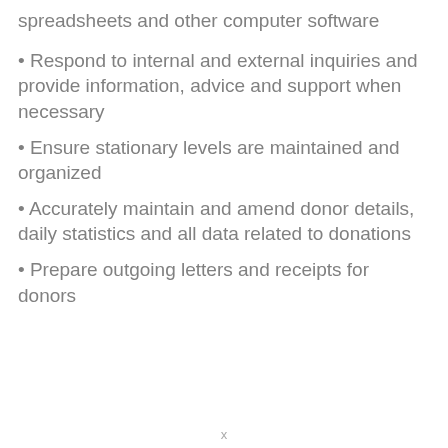spreadsheets and other computer software
• Respond to internal and external inquiries and provide information, advice and support when necessary
• Ensure stationary levels are maintained and organized
• Accurately maintain and amend donor details, daily statistics and all data related to donations
• Prepare outgoing letters and receipts for donors
x